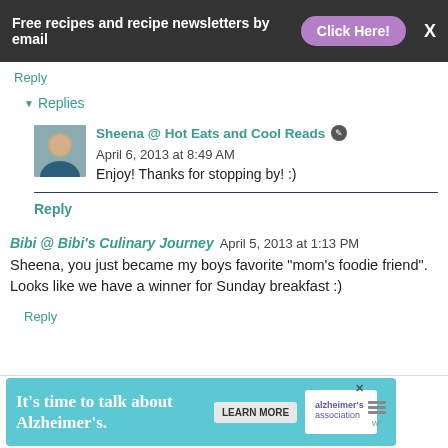Free recipes and recipe newsletters by email  Click Here!  X
Reply
▾ Replies
Sheena @ Hot Eats and Cool Reads  April 6, 2013 at 8:49 AM
Enjoy! Thanks for stopping by! :)
Reply
Bibi @ Bibi's Culinary Journey  April 5, 2013 at 1:13 PM
Sheena, you just became my boys favorite "mom's foodie friend". Looks like we have a winner for Sunday breakfast :)
Reply
[Figure (infographic): Advertisement banner: It's time to talk about Alzheimer's. with Learn More button and Alzheimer's Association logo.]